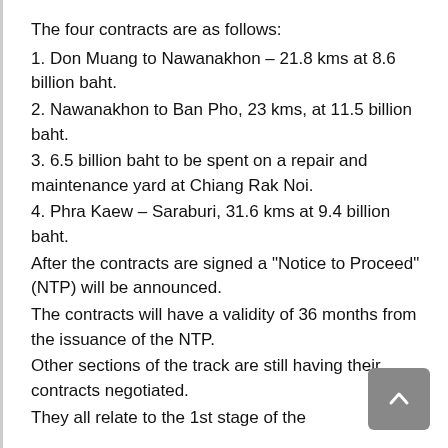The four contracts are as follows:
1. Don Muang to Nawanakhon – 21.8 kms at 8.6 billion baht.
2. Nawanakhon to Ban Pho, 23 kms, at 11.5 billion baht.
3. 6.5 billion baht to be spent on a repair and maintenance yard at Chiang Rak Noi.
4. Phra Kaew – Saraburi, 31.6 kms at 9.4 billion baht.
After the contracts are signed a "Notice to Proceed" (NTP) will be announced.
The contracts will have a validity of 36 months from the issuance of the NTP.
Other sections of the track are still having their contracts negotiated.
They all relate to the 1st stage of the